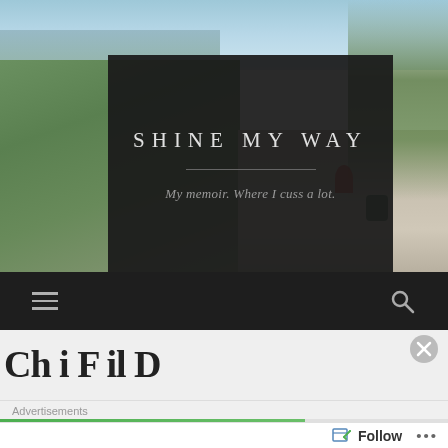[Figure (photo): Landscape hero image showing mountain ridges with green forest on the left side and rocky terrain with a person in a red shirt sitting on rocks on the right side, blue sky above]
SHINE MY WAY
My memoir. Where I cuss a lot.
[Figure (screenshot): Dark navigation bar with hamburger menu icon on the left and search (magnifying glass) icon on the right]
Advertisements
Follow
...